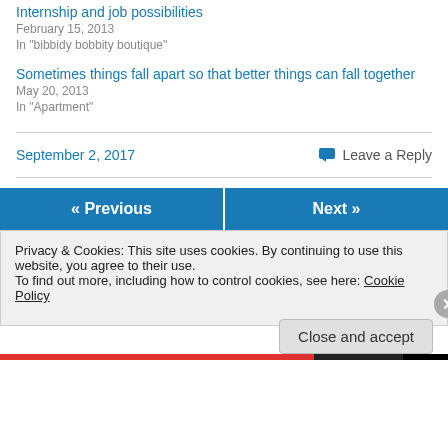Internship and job possibilities
February 15, 2013
In "bibbidy bobbity boutique"
Sometimes things fall apart so that better things can fall together
May 20, 2013
In "Apartment"
September 2, 2017
Leave a Reply
« Previous
Next »
Privacy & Cookies: This site uses cookies. By continuing to use this website, you agree to their use.
To find out more, including how to control cookies, see here: Cookie Policy
Close and accept